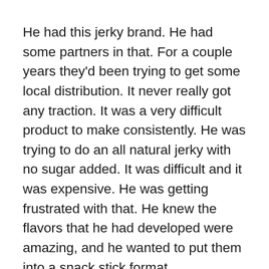He had this jerky brand. He had some partners in that. For a couple years they'd been trying to get some local distribution. It never really got any traction. It was a very difficult product to make consistently. He was trying to do an all natural jerky with no sugar added. It was difficult and it was expensive. He was getting frustrated with that. He knew the flavors that he had developed were amazing, and he wanted to put them into a snack stick format.
For your listeners that aren't familiar, traditionally when people think of a snack stick, they'd think of a Slim Jim. We're anti Slim Jim in